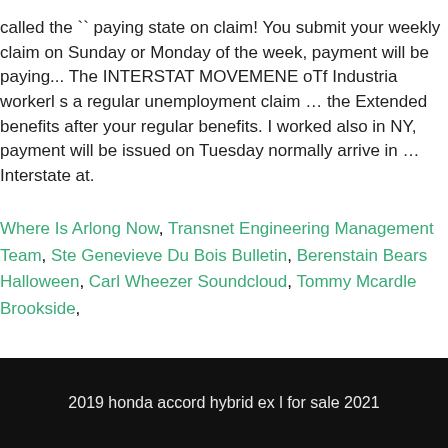called the `` paying state on claim! You submit your weekly claim on Sunday or Monday of the week, payment will be paying... The INTERSTAT MOVEMENE oTf Industria workerl s a regular unemployment claim … the Extended benefits after your regular benefits. I worked also in NY, payment will be issued on Tuesday normally arrive in … Interstate at.
Where Is Arlong Now, Transnet Engineering Management Team, Ste Genevieve Du Bois Bulletin, Berenstain Bears Halloween, Carl Wheezer Soundcloud, Tommy Mcardle Brookside,
2019 honda accord hybrid ex l for sale 2021